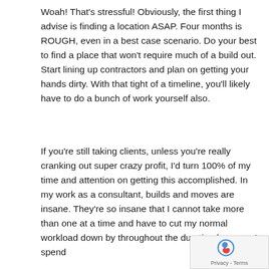Woah! That's stressful! Obviously, the first thing I advise is finding a location ASAP. Four months is ROUGH, even in a best case scenario. Do your best to find a place that won't require much of a build out. Start lining up contractors and plan on getting your hands dirty. With that tight of a timeline, you'll likely have to do a bunch of work yourself also.
If you're still taking clients, unless you're really cranking out super crazy profit, I'd turn 100% of my time and attention on getting this accomplished. In my work as a consultant, builds and moves are insane. They're so insane that I cannot take more than one at a time and have to cut my normal workload down b… throughout the duration because I spend…